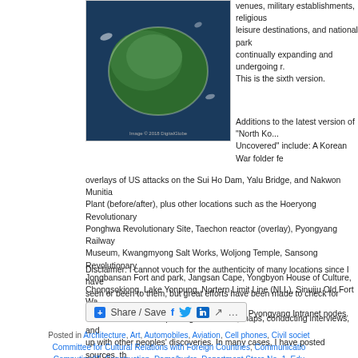[Figure (photo): Satellite aerial view of a green island (likely a North Korean island) against dark water background, with small copyright watermark text at bottom.]
venues, military establishments, religious leisure destinations, and national parks continually expanding and undergoing r. This is the sixth version.
Additions to the latest version of "North Ko... Uncovered" include: A Korean War folder fe overlays of US attacks on the Sui Ho Dam, Yalu Bridge, and Nakwon Munitia Plant (before/after), plus other locations such as the Hoeryong Revolutionary Ponghwa Revolutionary Site, Taechon reactor (overlay), Pyongyang Railway Museum, Kwangmyong Salt Works, Woljong Temple, Sansong Revolutionary Jongbansan Fort and park, Jangsan Cape, Yongbyon House of Culture, Chongsokjong, Lake Yonpung, Nortern Limit Line (NLL), Sinuiju Old Fort Wa Pyongyang open air market, and confirmed Pyongyang Intranet nodes.
Disclaimer: I cannot vouch for the authenticity of many locations since I have seen or been to them, but great efforts have been made to check for authen. These efforts include pouring over books, maps, conducting interviews, and up with other peoples' discoveries. In many cases, I have posted sources, th not for all. This is a thorough compilation of lots of material, but I will leave it the reader to make up their own minds as to what they see. I cannot catch everything and I welcome contributions.
[Figure (screenshot): Share / Save button with Facebook, Twitter, and share icons]
Posted in Architecture, Art, Automobiles, Aviation, Cell phones, Civil society Committee for Cultural Relations with Foreign Countries, Communicatio Computing/IT, Construction, Dams/hydro, Department Store No. 1, Edu